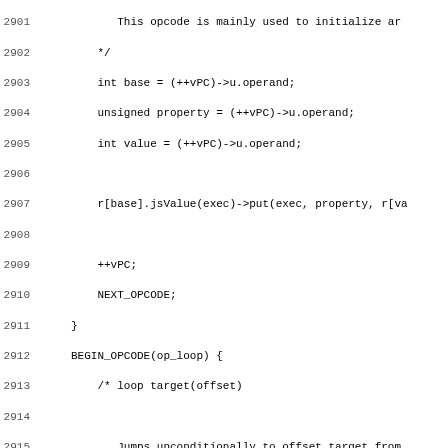Source code listing lines 2901-2932, showing C++ opcode implementation including op_loop and op_jmp handlers with comments about jump behavior and JS timeout.